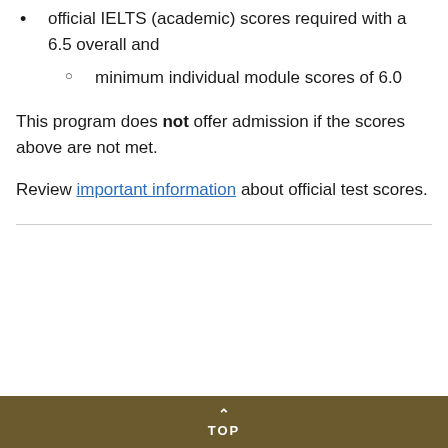official IELTS (academic) scores required with a 6.5 overall and
minimum individual module scores of 6.0
This program does not offer admission if the scores above are not met.
Review important information about official test scores.
TOP